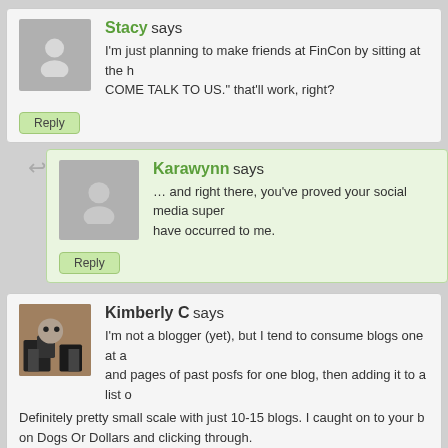Stacy says
I'm just planning to make friends at FinCon by sitting at the h COME TALK TO US." that'll work, right?
Reply
Karawynn says
… and right there, you've proved your social media super have occurred to me.
Reply
Kimberly C says
I'm not a blogger (yet), but I tend to consume blogs one at a and pages of past posfs for one blog, then adding it to a list o Definitely pretty small scale with just 10-15 blogs. I caught on to your b on Dogs Or Dollars and clicking through.
Reply